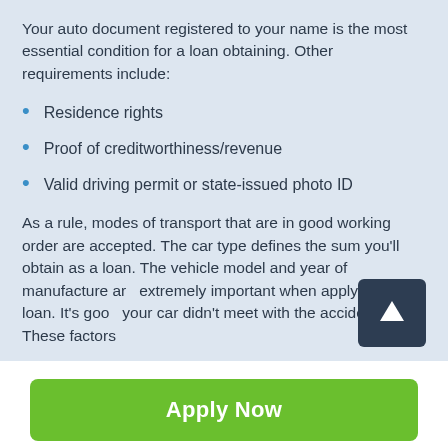Your auto document registered to your name is the most essential condition for a loan obtaining. Other requirements include:
Residence rights
Proof of creditworthiness/revenue
Valid driving permit or state-issued photo ID
As a rule, modes of transport that are in good working order are accepted. The car type defines the sum you'll obtain as a loan. The vehicle model and year of manufacture are extremely important when applying for a loan. It's good your car didn't meet with the accidents. These factors
[Figure (other): Dark blue square button with white upward arrow icon (scroll to top button)]
Apply Now
Applying does NOT affect your credit score!
No credit check to apply.